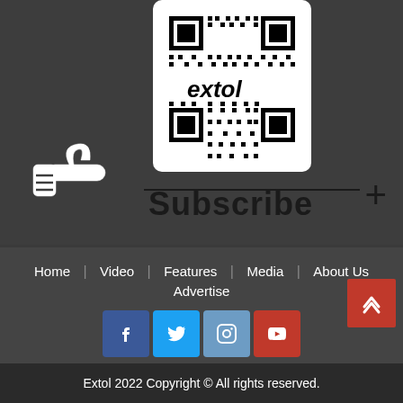[Figure (other): QR code with 'extol' text embedded, displayed on a dark background above a subscribe prompt with a hand/pointing icon]
Subscribe
Home | Video | Features | Media | About Us | Advertise
[Figure (other): Social media icons: Facebook, Twitter, Instagram, YouTube]
Extol 2022 Copyright © All rights reserved.